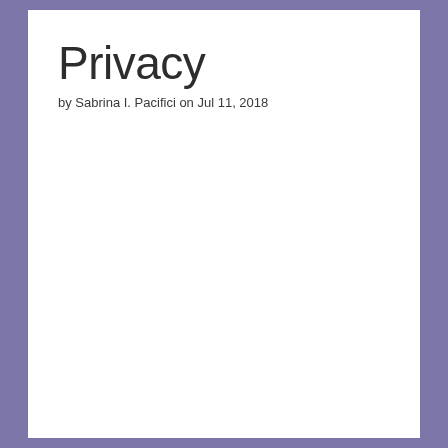Privacy
by Sabrina I. Pacifici on Jul 11, 2018